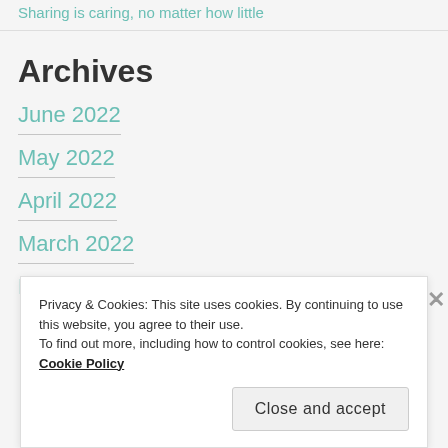Sharing is caring, no matter how little
Archives
June 2022
May 2022
April 2022
March 2022
Privacy & Cookies: This site uses cookies. By continuing to use this website, you agree to their use. To find out more, including how to control cookies, see here: Cookie Policy
Close and accept